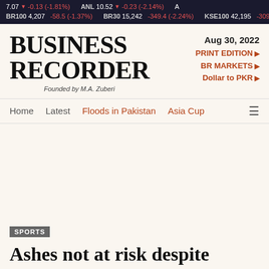7.07 ▼ -0.13 (-1.81%)   ANL 10.52 ▼ -0.23 (-2.14%)   A   BR100 4,207 -58.5 (-1.37%)   BR30 15,242 -349.4 (-2.24%)   KSE100 42,195 -309.1 (-0.73%)   KSE30 15,927 -162.6 (-1.01%)
[Figure (logo): Business Recorder logo with 'Founded by M.A. Zuberi' tagline]
Aug 30, 2022
PRINT EDITION ►
BR MARKETS ►
Dollar to PKR ►
Home   Latest   Floods in Pakistan   Asia Cup ≡
SPORTS
Ashes not at risk despite Covid cases in England camp; CA